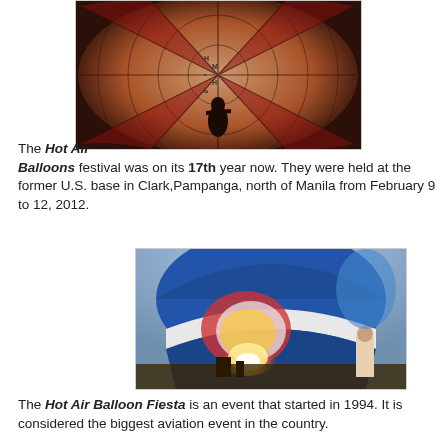[Figure (photo): Silhouette of a person inside a large hot air balloon envelope, showing the radial pattern of the balloon from inside, with red and white colors, lit from behind.]
The Hot Air Balloons festival was on its 17th year now. They were held at the former U.S. base in Clark,Pampanga, north of Manila from February 9 to 12, 2012.
[Figure (photo): Close-up of a large blue and white hot air balloon being inflated with a flame burner visible inside, other balloons and people visible in the background against a sky.]
The Hot Air Balloon Fiesta is an event that started in 1994. It is considered the biggest aviation event in the country.